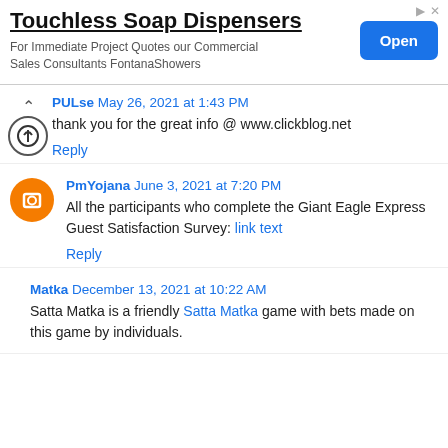[Figure (screenshot): Advertisement banner for Touchless Soap Dispensers with an Open button]
PULse May 26, 2021 at 1:43 PM
thank you for the great info @ www.clickblog.net
Reply
PmYojana June 3, 2021 at 7:20 PM
All the participants who complete the Giant Eagle Express Guest Satisfaction Survey: link text
Reply
Matka December 13, 2021 at 10:22 AM
Satta Matka is a friendly Satta Matka game with bets made on this game by individuals.